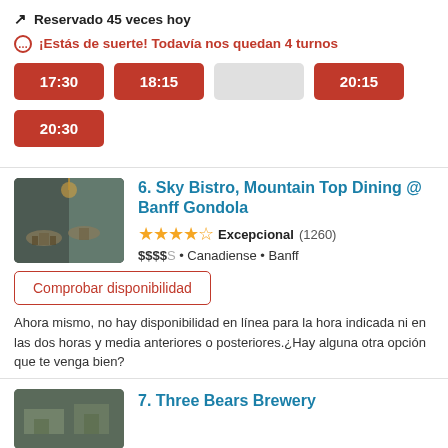Reservado 45 veces hoy
¡Estás de suerte! Todavía nos quedan 4 turnos
17:30
18:15
20:15
20:30
6. Sky Bistro, Mountain Top Dining @ Banff Gondola
Excepcional  (1260)
$$$$S • Canadiense • Banff
Comprobar disponibilidad
Ahora mismo, no hay disponibilidad en línea para la hora indicada ni en las dos horas y media anteriores o posteriores.¿Hay alguna otra opción que te venga bien?
7. Three Bears Brewery